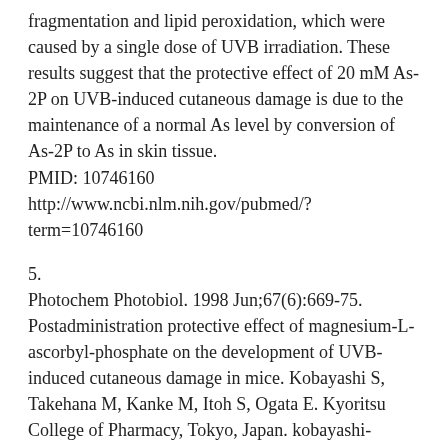fragmentation and lipid peroxidation, which were caused by a single dose of UVB irradiation. These results suggest that the protective effect of 20 mM As-2P on UVB-induced cutaneous damage is due to the maintenance of a normal As level by conversion of As-2P to As in skin tissue. PMID: 10746160 http://www.ncbi.nlm.nih.gov/pubmed/?term=10746160
5.
Photochem Photobiol. 1998 Jun;67(6):669-75. Postadministration protective effect of magnesium-L-ascorbyl-phosphate on the development of UVB-induced cutaneous damage in mice. Kobayashi S, Takehana M, Kanke M, Itoh S, Ogata E. Kyoritsu College of Pharmacy, Tokyo, Japan. kobayashi-sz@kyoritsu-ph.ac.jp